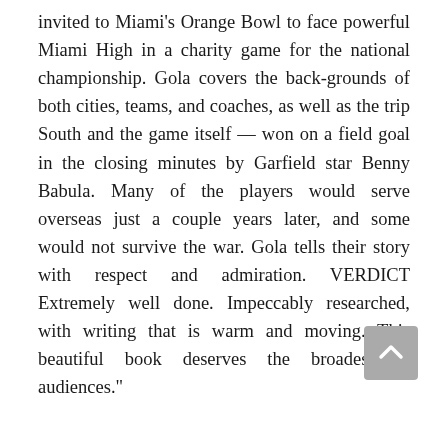invited to Miami's Orange Bowl to face powerful Miami High in a charity game for the national championship. Gola covers the back-grounds of both cities, teams, and coaches, as well as the trip South and the game itself — won on a field goal in the closing minutes by Garfield star Benny Babula. Many of the players would serve overseas just a couple years later, and some would not survive the war. Gola tells their story with respect and admiration. VERDICT Extremely well done. Impeccably researched, with writing that is warm and moving. This beautiful book deserves the broadest of audiences."